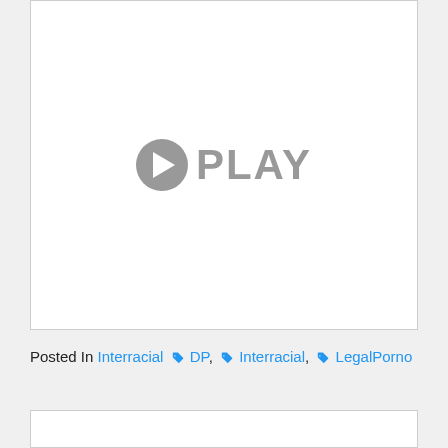[Figure (screenshot): Video player placeholder with a gray play button circle and PLAY text on white background]
Posted In Interracial DP, Interracial, LegalPorno
[Figure (screenshot): Bottom white box area, partially visible]